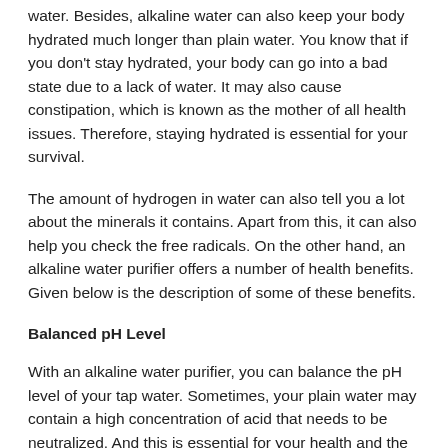water. Besides, alkaline water can also keep your body hydrated much longer than plain water. You know that if you don't stay hydrated, your body can go into a bad state due to a lack of water. It may also cause constipation, which is known as the mother of all health issues. Therefore, staying hydrated is essential for your survival.
The amount of hydrogen in water can also tell you a lot about the minerals it contains. Apart from this, it can also help you check the free radicals. On the other hand, an alkaline water purifier offers a number of health benefits. Given below is the description of some of these benefits.
Balanced pH Level
With an alkaline water purifier, you can balance the pH level of your tap water. Sometimes, your plain water may contain a high concentration of acid that needs to be neutralized. And this is essential for your health and the health of your family members.
Prevention At Some Stage…